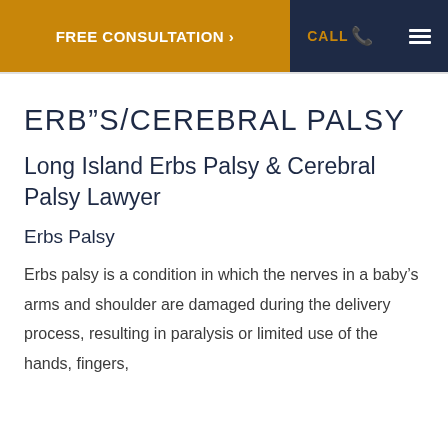FREE CONSULTATION > | CALL | menu
ERB”S/CEREBRAL PALSY
Long Island Erbs Palsy & Cerebral Palsy Lawyer
Erbs Palsy
Erbs palsy is a condition in which the nerves in a baby’s arms and shoulder are damaged during the delivery process, resulting in paralysis or limited use of the hands, fingers,